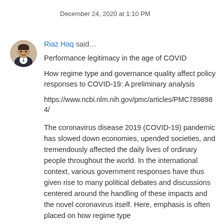December 24, 2020 at 1:10 PM
Riaz Haq said…
Performance legitimacy in the age of COVID
How regime type and governance quality affect policy responses to COVID-19: A preliminary analysis
https://www.ncbi.nlm.nih.gov/pmc/articles/PMC7898984/
The coronavirus disease 2019 (COVID-19) pandemic has slowed down economies, upended societies, and tremendously affected the daily lives of ordinary people throughout the world. In the international context, various government responses have thus given rise to many political debates and discussions centered around the handling of these impacts and the novel coronavirus itself. Here, emphasis is often placed on how regime type